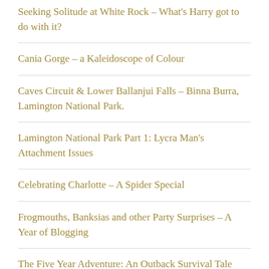Seeking Solitude at White Rock – What's Harry got to do with it?
Cania Gorge – a Kaleidoscope of Colour
Caves Circuit & Lower Ballanjui Falls – Binna Burra, Lamington National Park.
Lamington National Park Part 1: Lycra Man's Attachment Issues
Celebrating Charlotte – A Spider Special
Frogmouths, Banksias and other Party Surprises – A Year of Blogging
The Five Year Adventure: An Outback Survival Tale